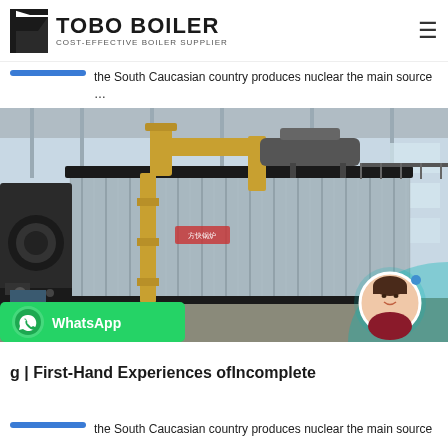TOBO BOILER — COST-EFFECTIVE BOILER SUPPLIER
the South Caucasian country produces nuclear the main source …
[Figure (photo): Large industrial boiler unit with corrugated metal casing and yellow gas pipes, inside a factory/warehouse. A woman's avatar appears in a circle at bottom right, with a teal circular arc behind it. A WhatsApp banner is overlaid at the bottom left.]
g | First-Hand Experiences ofIncomplete
the South Caucasian country produces nuclear the main source …